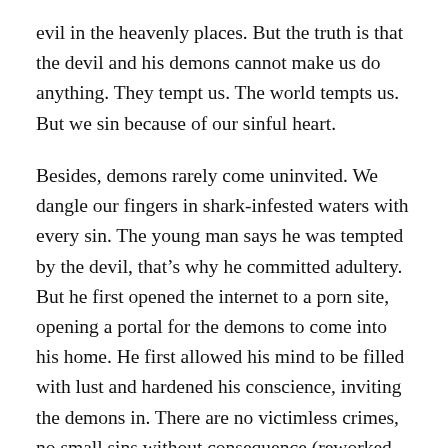evil in the heavenly places. But the truth is that the devil and his demons cannot make us do anything. They tempt us. The world tempts us. But we sin because of our sinful heart.
Besides, demons rarely come uninvited. We dangle our fingers in shark-infested waters with every sin. The young man says he was tempted by the devil, that's why he committed adultery. But he first opened the internet to a porn site, opening a portal for the demons to come into his home. He first allowed his mind to be filled with lust and hardened his conscience, inviting the demons in. There are no victimless crimes, no small sins without consequence (reworked from a paragraph in a Rev. David Petersen sermon on Matt. 15:21-28).
The young woman says she was tempted by the devil, that's why she shoplifted. But she first coveted what she did not have. She was first jealous of what others had and discontent with what